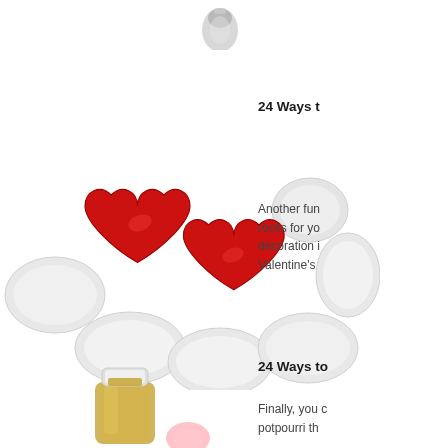[Figure (photo): Partial top image of a glass or crystal object, cropped at top of page]
24 Ways t
[Figure (photo): Red heart-shaped rocks and white oval rocks arranged together on white background]
Another fun decoration rocks for yo decoration i Valentine's
24 Ways to
[Figure (photo): Small bottle with yellow/golden liquid and white cap, partially visible at bottom of page]
Finally, you c potpourri th